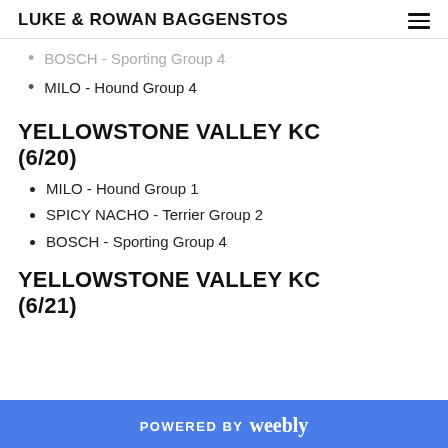LUKE & ROWAN BAGGENSTOS
BOSCH - Sporting Group 4
MILO - Hound Group 4
YELLOWSTONE VALLEY KC (6/20)
MILO - Hound Group 1
SPICY NACHO - Terrier Group 2
BOSCH - Sporting Group 4
YELLOWSTONE VALLEY KC (6/21)
POWERED BY weebly